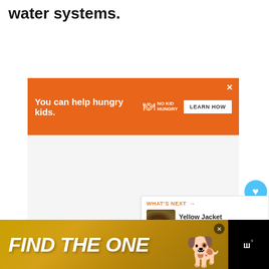water systems.
[Figure (infographic): Orange advertisement banner reading 'You can help hungry kids.' with No Kid Hungry logo and 'LEARN HOW' button on orange background]
[Figure (infographic): Floating social interaction buttons: blue heart/like button, count of 1, and share button]
[Figure (infographic): What's Next widget showing link to 'Yellow Jacket Nest in Hou...' article with thumbnail image]
[Figure (infographic): Bottom advertisement banner with dark background reading 'FIND THE ONE' with dog image and close button, alongside a logo in the bottom right corner]